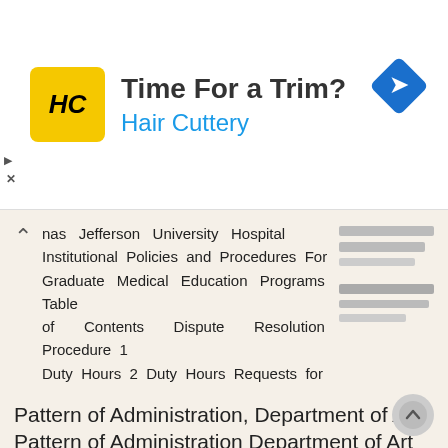[Figure (other): Hair Cuttery advertisement banner with logo, text 'Time For a Trim?' and navigation arrow diamond icon]
nas Jefferson University Hospital Institutional Policies and Procedures For Graduate Medical Education Programs Table of Contents Dispute Resolution Procedure 1 Duty Hours 2 Duty Hours Requests for
More information →
Pattern of Administration, Department of Art. Pattern of Administration Department of Art Revised: Autumn 2016 OAA
Pattern of Administration Department of Art Revised: Autumn 2016 OAA Approved December 11, 2016 Table of Contents I. Introduction… 3 II. Department Mission and Description… 3 III. Academic Rights and